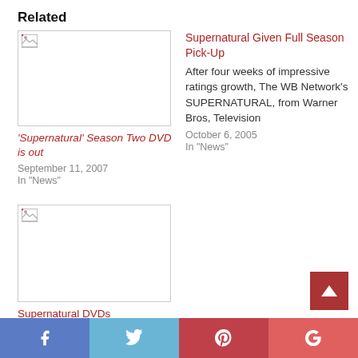Related
[Figure (photo): Broken image placeholder for 'Supernatural' Season Two DVD is out]
'Supernatural' Season Two DVD is out
September 11, 2007
In "News"
[Figure (other): No image shown for Supernatural Given Full Season Pick-Up]
Supernatural Given Full Season Pick-Up
After four weeks of impressive ratings growth, The WB Network's SUPERNATURAL, from Warner Bros, Television
October 6, 2005
In "News"
[Figure (photo): Broken image placeholder for Supernatural DVDs]
Supernatural DVDs
May 21, 2007
In "News"